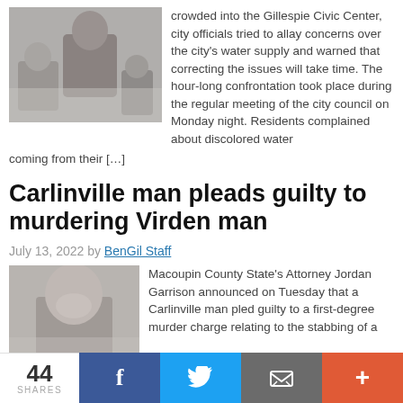[Figure (photo): Photo of people at a town hall meeting; a large man in a maroon shirt is prominent in the foreground]
crowded into the Gillespie Civic Center, city officials tried to allay concerns over the city's water supply and warned that correcting the issues will take time. The hour-long confrontation took place during the regular meeting of the city council on Monday night. Residents complained about discolored water coming from their […]
Carlinville man pleads guilty to murdering Virden man
July 13, 2022 by BenGil Staff
[Figure (photo): Mugshot photo of a young man]
Macoupin County State's Attorney Jordan Garrison announced on Tuesday that a Carlinville man pled guilty to a first-degree murder charge relating to the stabbing of a
44 SHARES  f  [Twitter bird]  [email icon]  +